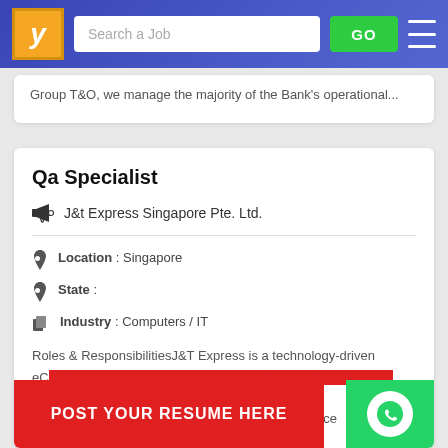Search a Job | GO
Group T&O, we manage the majority of the Bank's operational...
Qa Specialist
J&t Express Singapore Pte. Ltd.
Location : Singapore
State :
Industry : Computers / IT
Roles & ResponsibilitiesJ&T Express is a technology-driven eCommerce enabler focused on allowing customers to embark and services to power the next generation of eCommerce
POST YOUR RESUME HERE